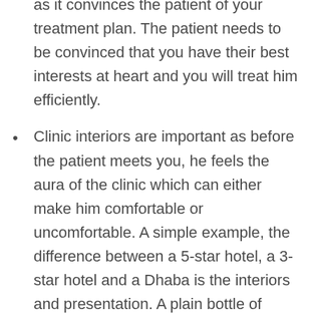as it convinces the patient of your treatment plan. The patient needs to be convinced that you have their best interests at heart and you will treat him efficiently.
Clinic interiors are important as before the patient meets you, he feels the aura of the clinic which can either make him comfortable or uncomfortable. A simple example, the difference between a 5-star hotel, a 3-star hotel and a Dhaba is the interiors and presentation. A plain bottle of Bisleri water can be sold for INR 20 at a Dhaba, INR